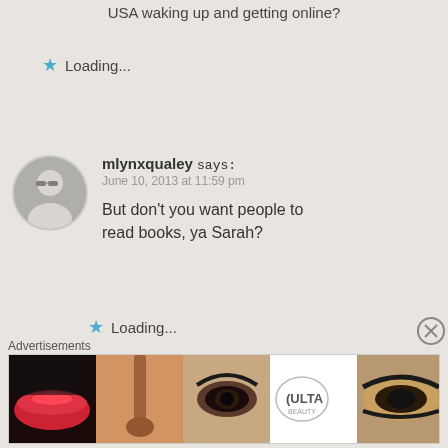USA waking up and getting online?
Loading...
mlynxqualey says: June 10, 2013 at 11:59 pm
But don't you want people to read books, ya Sarah?
Loading...
Sarah Irving says: June 12, 2013 at 10:03 pm
Advertisements
[Figure (photo): Ulta Beauty advertisement banner with makeup images and shop now button]